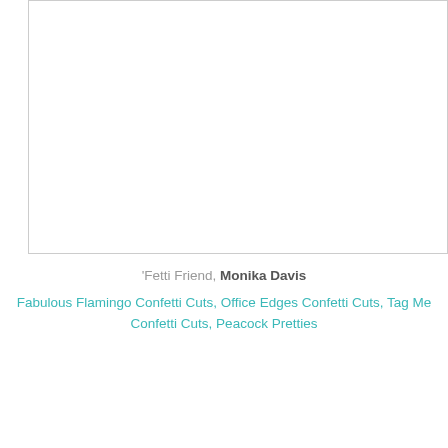[Figure (photo): Top image placeholder (broken/unloaded image box)]
'Fetti Friend, Monika Davis
Fabulous Flamingo Confetti Cuts, Office Edges Confetti Cuts, Tag Me Confetti Cuts, Peacock Pretties
[Figure (photo): Bottom image placeholder (broken/unloaded image box)]